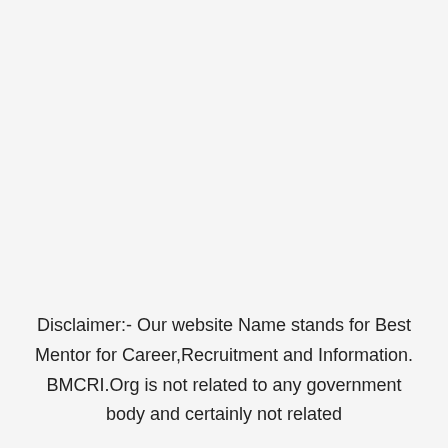Disclaimer:- Our website Name stands for Best Mentor for Career,Recruitment and Information. BMCRI.Org is not related to any government body and certainly not related